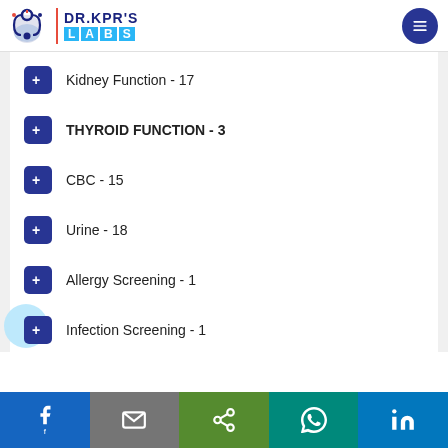DR.KPR'S LABS
Kidney Function - 17
THYROID FUNCTION - 3
CBC - 15
Urine - 18
Allergy Screening - 1
Infection Screening - 1